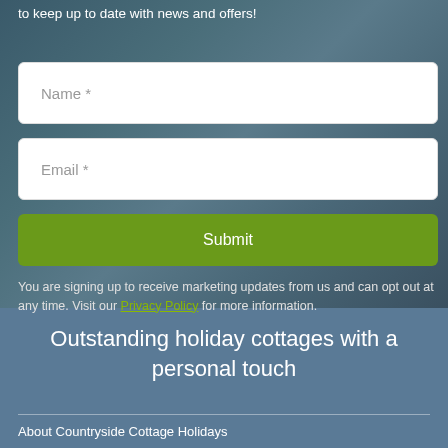to keep up to date with news and offers!
Name *
Email *
Submit
You are signing up to receive marketing updates from us and can opt out at any time. Visit our Privacy Policy for more information.
Outstanding holiday cottages with a personal touch
About Countryside Cottage Holidays